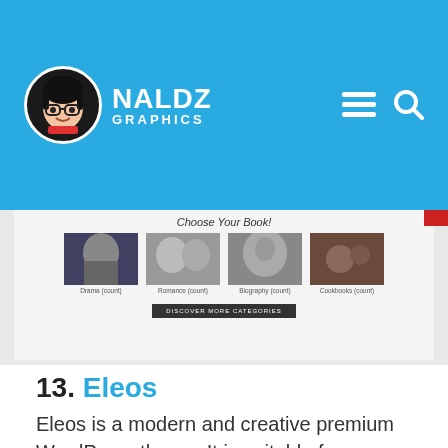[Figure (screenshot): Naldz Graphics website header with blue background, circular avatar logo, NALDZ GRAPHICS text, hamburger menu icon, and search icon]
[Figure (screenshot): Website screenshot showing 'Choose Your Book!' section with four book category images (Drama, Romance, Biography, Cookbooks) and a 'DISCOVER MORE CATEGORIES' button]
13. Eleos
Eleos is a modern and creative premium WordPress theme. It is suitable for personal portfolio, creative agency, designer portfolio, illustrator portfolio, and more. It's very easy to customize your website